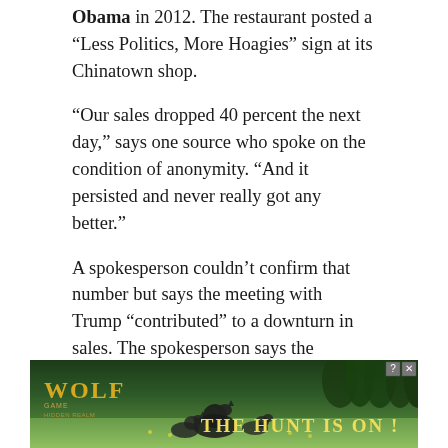Obama in 2012. The restaurant posted a “Less Politics, More Hoagies” sign at its Chinatown shop.
“Our sales dropped 40 percent the next day,” says one source who spoke on the condition of anonymity. “And it persisted and never really got any better.”
A spokesperson couldn’t confirm that number but says the meeting with Trump “contributed” to a downturn in sales. The spokesperson says the company rebounded from the controversy, and it wasn’t the cause of the chain’s demise.
[Figure (other): Advertisement banner for Wolf game with wolves in a field and text 'THE HUNT IS ON!']